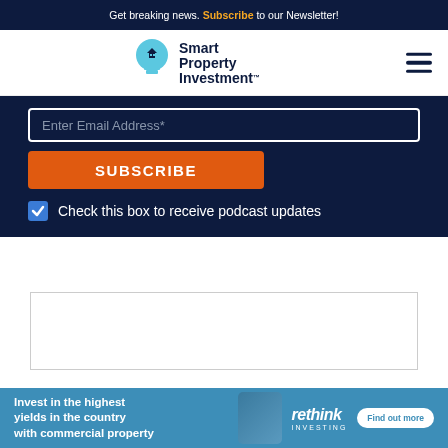Get breaking news. Subscribe to our Newsletter!
[Figure (logo): Smart Property Investment logo with lightbulb icon]
Enter Email Address*
SUBSCRIBE
Check this box to receive podcast updates
[Figure (other): Empty white advertisement placeholder box with border]
[Figure (other): Rethink Investing advertisement banner: Invest in the highest yields in the country with commercial property]